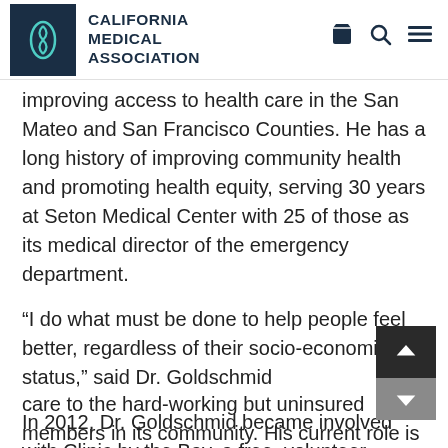California Medical Association
improving access to health care in the San Mateo and San Francisco Counties. He has a long history of improving community health and promoting health equity, serving 30 years at Seton Medical Center with 25 of those as its medical director of the emergency department.
“I do what must be done to help people feel better, regardless of their socio-economic status,” said Dr. Goldschmid
In 2012, Dr. Goldschmid became involved with Clinic by the Bay, a free, volunteer-powered health clinic that provides high-quality, primary care to the hard-working but uninsured members in its community. His current role is